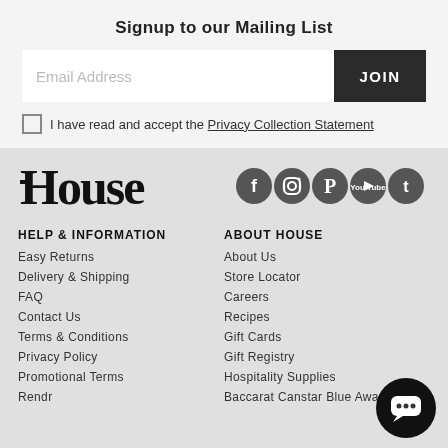Signup to our Mailing List
Email Address
JOIN
I have read and accept the Privacy Collection Statement
[Figure (logo): House brand logo in bold serif font]
[Figure (infographic): Social media icons row: Facebook, Instagram, Pinterest, YouTube, Twitter]
HELP & INFORMATION
Easy Returns
Delivery & Shipping
FAQ
Contact Us
Terms & Conditions
Privacy Policy
Promotional Terms
Rendr
ABOUT HOUSE
About Us
Store Locator
Careers
Recipes
Gift Cards
Gift Registry
Hospitality Supplies
Baccarat Canstar Blue Award